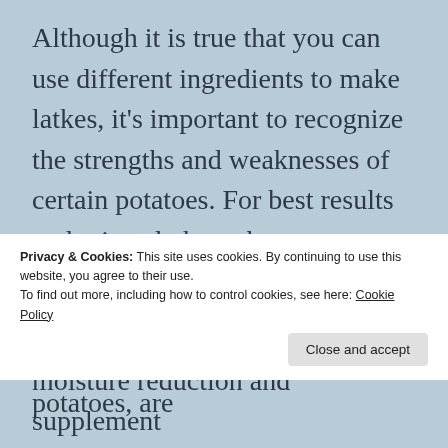Although it is true that you can use different ingredients to make latkes, it's important to recognize the strengths and weaknesses of certain potatoes. For best results and crispy latkes, choose a starchy potato, such as russet or Yukon gold. Potatoes that are described as “waxy,” such as red potatoes, are
Privacy & Cookies: This site uses cookies. By continuing to use this website, you agree to their use.
To find out more, including how to control cookies, see here: Cookie Policy
moisture reduction and supplement